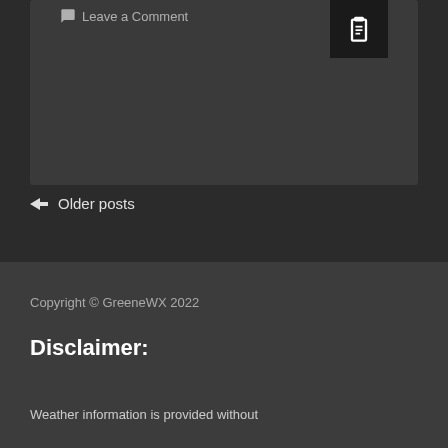Leave a Comment
← Older posts
Copyright © GreeneWX 2022
Disclaimer:
Weather information is provided without